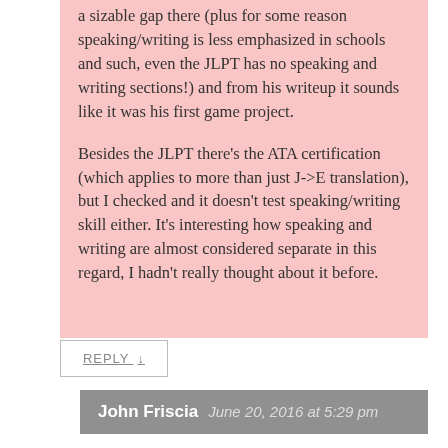a sizable gap there (plus for some reason speaking/writing is less emphasized in schools and such, even the JLPT has no speaking and writing sections!) and from his writeup it sounds like it was his first game project.
Besides the JLPT there’s the ATA certification (which applies to more than just J->E translation), but I checked and it doesn’t test speaking/writing skill either. It’s interesting how speaking and writing are almost considered separate in this regard, I hadn’t really thought about it before.
REPLY ↓
John Friscia  June 20, 2016 at 5:29 pm
Ah, I see. So there really is an “unspoken divide” of sorts. Thanks for the